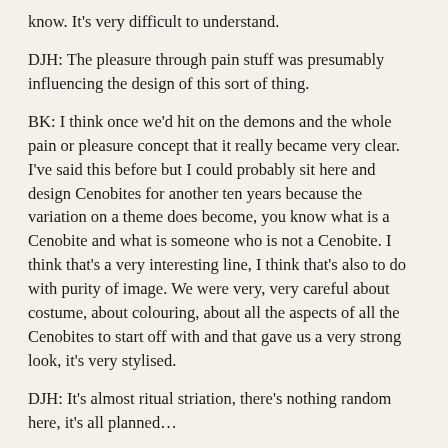know. It's very difficult to understand.
DJH: The pleasure through pain stuff was presumably influencing the design of this sort of thing.
BK: I think once we'd hit on the demons and the whole pain or pleasure concept that it really became very clear. I've said this before but I could probably sit here and design Cenobites for another ten years because the variation on a theme does become, you know what is a Cenobite and what is someone who is not a Cenobite. I think that's a very interesting line, I think that's also to do with purity of image. We were very, very careful about costume, about colouring, about all the aspects of all the Cenobites to start off with and that gave us a very strong look, it's very stylised.
DJH: It's almost ritual striation, there's nothing random here, it's all planned…
BK: That's exactly it and I think that's what we were looking for in our monsters, that we were looking for this strange ornament [aura], of almost like I said self-imposed discipline to it. Against that you've got the strange decayed order of the rebuilding of